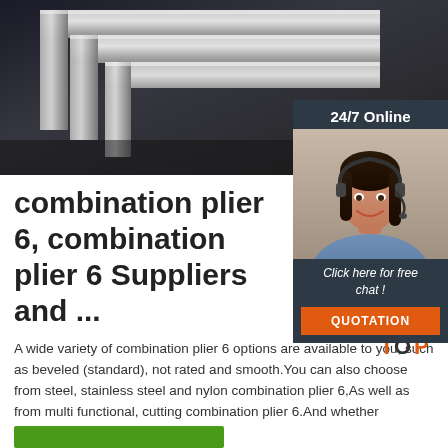[Figure (photo): Close-up photo of stainless steel angle iron / L-shaped metal profiles stacked together, dark metallic background]
[Figure (photo): Sidebar panel with '24/7 Online' label, photo of female customer service agent wearing headset and smiling, 'Click here for free chat!' text, and orange QUOTATION button]
combination plier 6, combination plier 6 Suppliers and ...
A wide variety of combination plier 6 options are available to you, such as beveled (standard), not rated and smooth.You can also choose from steel, stainless steel and nylon combination plier 6,As well as from multi functional, cutting combination plier 6.And whether combination plier 6 ...
[Figure (logo): TOP logo with orange dots/paw print above letters]